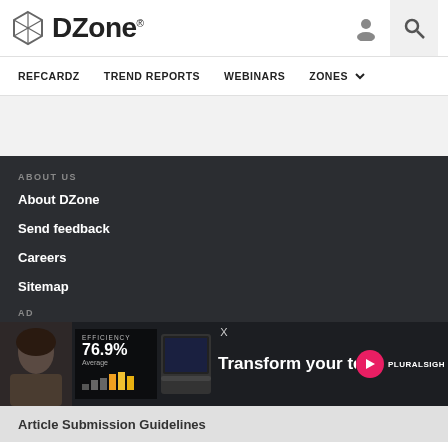[Figure (logo): DZone logo with hexagonal icon and DZone wordmark]
REFCARDZ   TREND REPORTS   WEBINARS   ZONES
ABOUT US
About DZone
Send feedback
Careers
Sitemap
[Figure (screenshot): Pluralsight advertisement banner showing a woman, efficiency stat 76.9% Average, bar chart, laptop, and text 'Transform your techno...' with Pluralsight logo]
Article Submission Guidelines